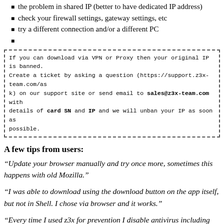the problem in shared IP (better to have dedicated IP address)
check your firewall settings, gateway settings, etc
try a different connection and/or a different PC
If you can download via VPN or Proxy then your original IP is banned. Create a ticket by asking a question (https://support.z3x-team.com/ask) on our support site or send email to sales@z3x-team.com with details of card SN and IP and we will unban your IP as soon as possible.
A few tips from users:
“Update your browser manually and try once more, sometimes this happens with old Mozilla.”
“I was able to download using the download button on the app itself, but not in Shell. I chose via browser and it works.”
“Every time I used z3x for prevention I disable antivirus including firewall and disable anti-malware, with those disabled I can work